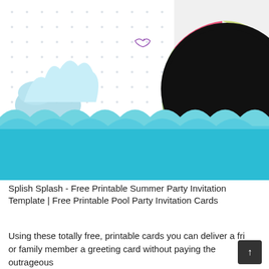[Figure (illustration): Pool party invitation card illustration: white background with polka dots and water splash with small fish on the left; colorful life preserver ring (sections of yellow-green, pink/red, olive green, white) with a large black circle in the center (photo placeholder) on the right; blue wavy water filling the bottom half of the card.]
Splish Splash - Free Printable Summer Party Invitation Template | Free Printable Pool Party Invitation Cards
Using these totally free, printable cards you can deliver a fri or family member a greeting card without paying the outrageous